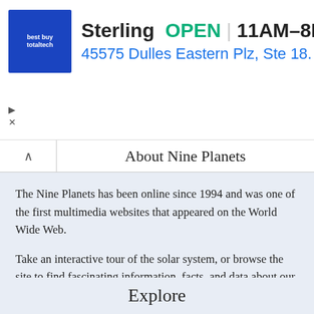[Figure (screenshot): Advertisement banner for Best Buy Total Tech in Sterling, showing store logo, open status, hours 11AM-8PM, address 45575 Dulles Eastern Plz Ste 18, and a navigation arrow icon]
About Nine Planets
The Nine Planets has been online since 1994 and was one of the first multimedia websites that appeared on the World Wide Web.
Take an interactive tour of the solar system, or browse the site to find fascinating information, facts, and data about our planets, the solar system, and beyond.
Explore